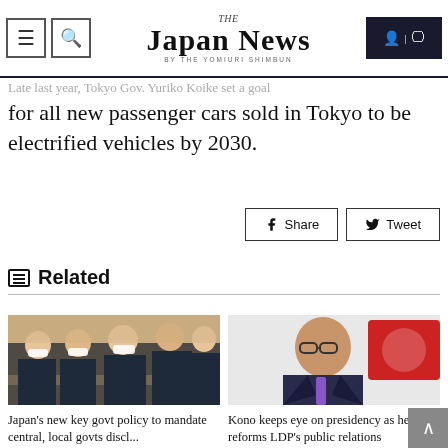THE JAPAN NEWS BY THE YOMIURI SHIMBUN
companies if they remain uncompliant, sources said.
Late last year, Tokyo Gov. Yuriko Koike set a goal for all new passenger cars sold in Tokyo to be electrified vehicles by 2030.
Share  Tweet
Related
[Figure (photo): Group of officials wearing masks seated at a conference table, side profile view]
[Figure (photo): Man with glasses in a suit speaking at a press conference with logo behind him]
Japan's new key govt policy to mandate central, local govts discl...
Kono keeps eye on presidency as he reforms LDP's public relations